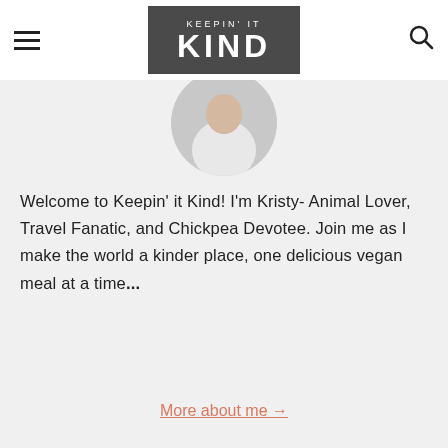KEEPIN' IT KIND — Navigation header with logo
[Figure (photo): Circular cropped profile photo of a person in white clothing]
Welcome to Keepin' it Kind! I'm Kristy- Animal Lover, Travel Fanatic, and Chickpea Devotee. Join me as I make the world a kinder place, one delicious vegan meal at a time...
More about me →